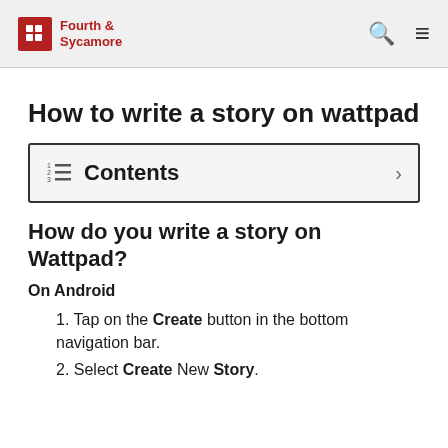Fourth & Sycamore
How to write a story on wattpad
Contents
How do you write a story on Wattpad?
On Android
Tap on the Create button in the bottom navigation bar.
Select Create New Story.